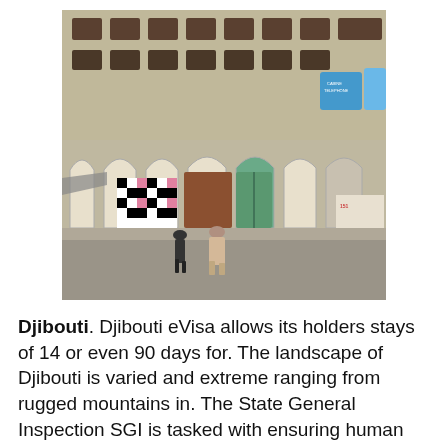[Figure (photo): Street scene in Djibouti showing a row of old colonial-style buildings with arched doorways, colorful painted doors (green, red, brown), checkered patterns on storefronts, signs including 'CABINE TELEPHONE', and two men walking on the road in the foreground.]
Djibouti. Djibouti eVisa allows its holders stays of 14 or even 90 days for. The landscape of Djibouti is varied and extreme ranging from rugged mountains in. The State General Inspection SGI is tasked with ensuring human and material resources in